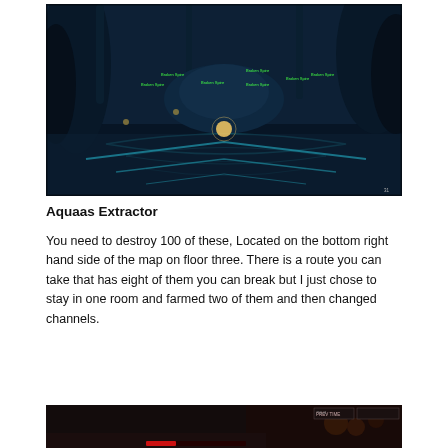[Figure (screenshot): Screenshot of a video game (likely Star Trek Online or similar MMORPG) showing a dark blue alien dungeon/cave environment with glowing teal floor patterns and multiple enemy labels in green text visible. A player character is visible in the center of the map.]
Aquaas Extractor
You need to destroy 100 of these, Located on the bottom right hand side of the map on floor three. There is a route you can take that has eight of them you can break but I just chose to stay in one room and farmed two of them and then changed channels.
[Figure (screenshot): Partial screenshot of a video game showing a dark red-tinted environment, with a health/UI bar visible at the bottom and some enemy or combat elements on the right side.]